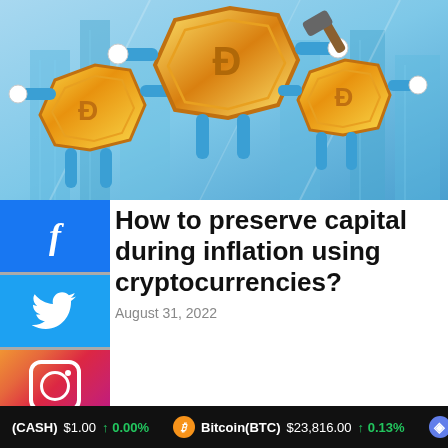[Figure (illustration): Cartoon illustration of three gold cryptocurrency coin characters with arms and legs on a blue background, holding objects and posing dynamically]
How to preserve capital during inflation using cryptocurrencies?
August 31, 2022
[Figure (infographic): Social media share buttons sidebar: Facebook (blue), Twitter (light blue), Instagram (gradient pink/purple)]
(CASH) $1.00 ↑ 0.00%   Bitcoin(BTC) $23,816.00 ↑ 0.13%